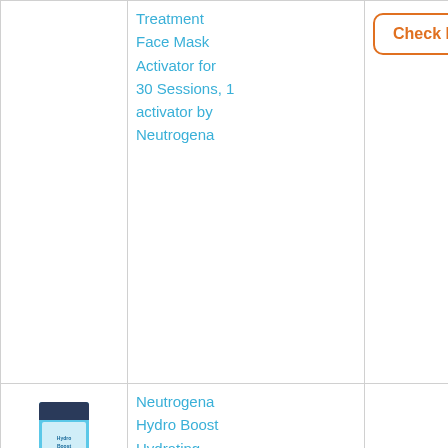| Image | Product Name | Price |
| --- | --- | --- |
| [image] | Treatment Face Mask Activator for 30 Sessions, 1 activator by Neutrogena | Check Price |
| [Neutrogena Hydro Boost image] | Neutrogena Hydro Boost Hydrating Hyaluronic Acid Serum, Oil-Free and Non-Comedogenic Formula for Glowing Complexion, 1 | Check Price |